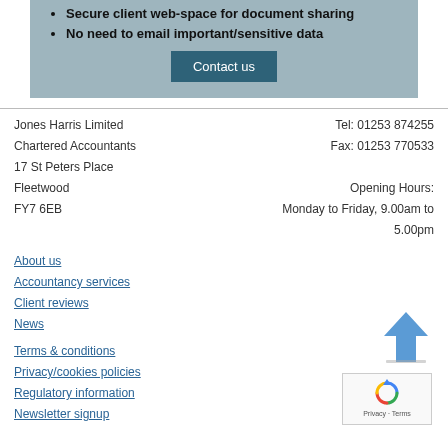Secure client web-space for document sharing
No need to email important/sensitive data
Contact us
Jones Harris Limited
Chartered Accountants
17 St Peters Place
Fleetwood
FY7 6EB
Tel: 01253 874255
Fax: 01253 770533

Opening Hours:
Monday to Friday, 9.00am to 5.00pm
About us
Accountancy services
Client reviews
News
Terms & conditions
Privacy/cookies policies
Regulatory information
Newsletter signup
[Figure (illustration): Blue upward arrow icon]
[Figure (other): reCAPTCHA widget with recycling-style logo, Privacy and Terms links]